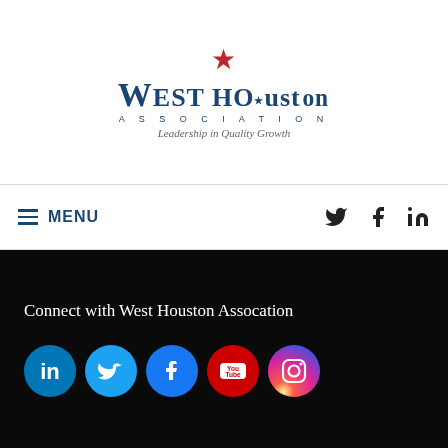[Figure (logo): West Houston Association logo with red star, blue text reading WEST HOUSTON ASSOCIATION, tagline Leadership in Quality Growth]
≡ MENU
Connect with West Houston Assocation
[Figure (infographic): Five social media icons in colored circles: LinkedIn (blue), Twitter (light blue), Facebook (blue), YouTube (red), Instagram (gradient)]